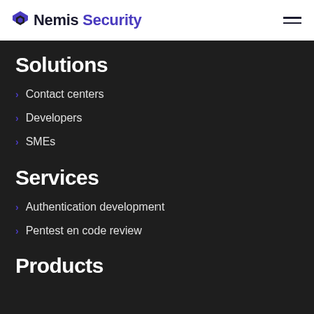Nemis Security
Solutions
Contact centers
Developers
SMEs
Services
Authentication development
Pentest en code review
Products